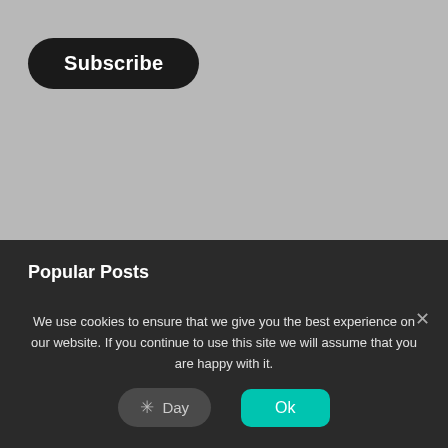[Figure (screenshot): Gray background area at top of webpage]
Subscribe
Popular Posts
[Figure (photo): Game thumbnail image with car and dark purple/red tones]
3D Tuning MOD Apk [God Mode] v1.17.11 Android Download by Kefir! 88 Final Shares
NBA 2K19 MOD Apk + OBB Data [Unlimited
[Figure (screenshot): Modal dialog overlay with 'Click OK To Continue' message and OK button]
Click OK To Continue
OK
We use cookies to ensure that we give you the best experience on our website. If you continue to use this site we will assume that you are happy with it.
Day
Ok